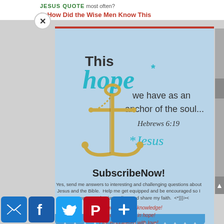JESUS QUOTE most often?
8. How Did the Wise Men Know This
[Figure (illustration): Inspirational religious graphic on light blue background featuring a golden anchor, with text: 'This hope* we have as an anchor of the soul... Hebrews 6:19' and '*Jesus' in teal/cyan script]
SubscribeNow!
Yes, send me answers to interesting and challenging questions about Jesus and the Bible. Help me get equipped and be encouraged so I am empowered to know, live, and share my faith. <*}}}><
Get equipped with knowledge!
Be encouraged in hope!
Live empowered with love!
[Figure (infographic): Social sharing buttons: email (blue envelope), Facebook (blue f), Twitter (blue bird), Pinterest (red P), and a blue plus/share button]